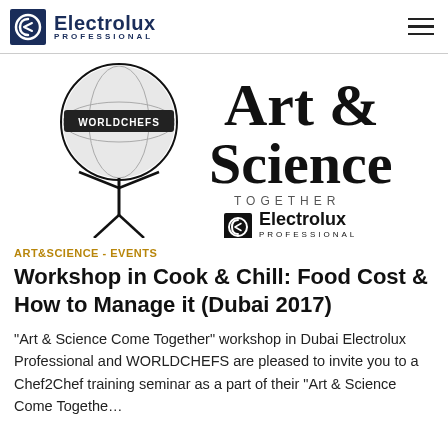Electrolux Professional
[Figure (logo): WorldChefs and Art & Science Together with Electrolux Professional combined event logo]
ART&SCIENCE - EVENTS
Workshop in Cook & Chill: Food Cost & How to Manage it (Dubai 2017)
“Art & Science Come Together” workshop in Dubai Electrolux Professional and WORLDCHEFS are pleased to invite you to a Chef2Chef training seminar as a part of their “Art & Science Come Togethe…